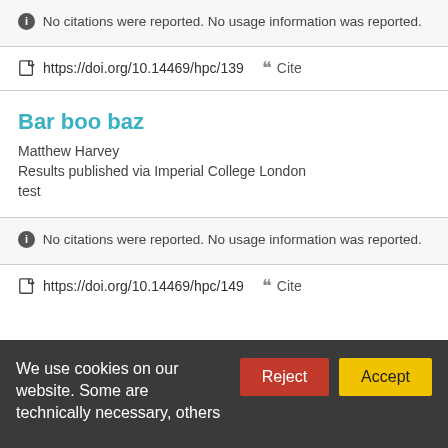No citations were reported. No usage information was reported.
https://doi.org/10.14469/hpc/139  Cite
Bar boo baz
Matthew Harvey
Results published via Imperial College London
test
No citations were reported. No usage information was reported.
https://doi.org/10.14469/hpc/149  Cite
We use cookies on our website. Some are technically necessary, others help us improve your experience.